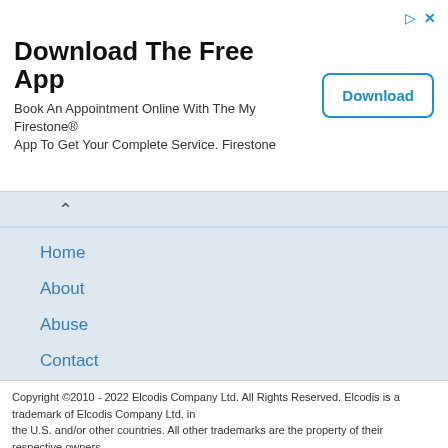[Figure (screenshot): Advertisement banner: Download The Free App - Book An Appointment Online With The My Firestone® App To Get Your Complete Service. Firestone. With a Download button on the right.]
Home
About
Abuse
Contact
Requests
Pricing
Request parts
Partnership
Copyright ©2010 - 2022 Elcodis Company Ltd. All Rights Reserved. Elcodis is a trademark of Elcodis Company Ltd. in the U.S. and/or other countries. All other trademarks are the property of their respective owners.